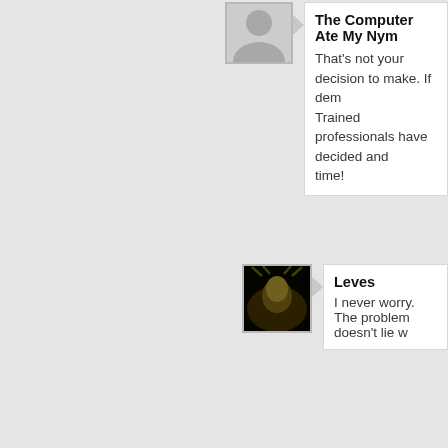The Computer Ate My Nym
That's not your decision to make. If dem Trained professionals have decided and time!
Leves
I never worry. The problem doesn't lie w
Azuran
Because everyone was so much smarter in the dark
Leves
Everyone obeyed the state and the dark ages e
LibrarianSarah